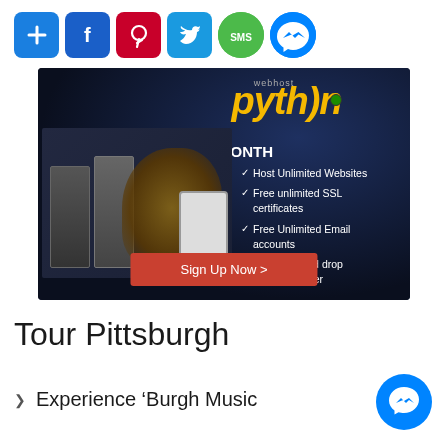[Figure (infographic): Social sharing icons row: Add (+), Facebook, Pinterest, Twitter, SMS, Messenger]
[Figure (infographic): Webhost Python web hosting advertisement banner. Dark background with snake and server imagery. Headline: 50% OFF FOR THE 1ST MONTH. Checklist: Host Unlimited Websites, Free unlimited SSL certificates, Free Unlimited Email accounts, Free drag and drop website builder. Button: Sign Up Now >]
Tour Pittsburgh
Experience ‘Burgh Music